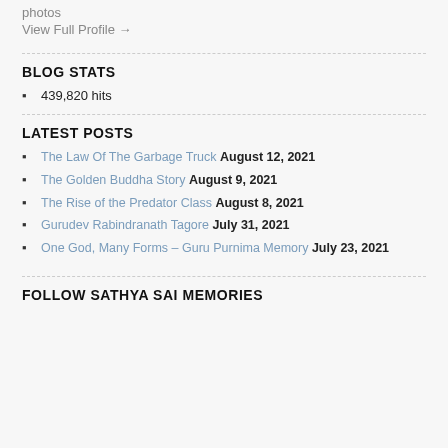photos
View Full Profile →
BLOG STATS
439,820 hits
LATEST POSTS
The Law Of The Garbage Truck August 12, 2021
The Golden Buddha Story August 9, 2021
The Rise of the Predator Class August 8, 2021
Gurudev Rabindranath Tagore July 31, 2021
One God, Many Forms – Guru Purnima Memory July 23, 2021
FOLLOW SATHYA SAI MEMORIES